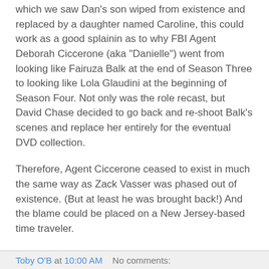which we saw Dan's son wiped from existence and replaced by a daughter named Caroline, this could work as a good splainin as to why FBI Agent Deborah Ciccerone (aka "Danielle") went from looking like Fairuza Balk at the end of Season Three to looking like Lola Glaudini at the beginning of Season Four. Not only was the role recast, but David Chase decided to go back and re-shoot Balk's scenes and replace her entirely for the eventual DVD collection.
Therefore, Agent Ciccerone ceased to exist in much the same way as Zack Vasser was phased out of existence. (But at least he was brought back!) And the blame could be placed on a New Jersey-based time traveler.
So even though it may be cancelled, 'Journeyman' lives on in Toobworld. We just won't be able to watch what happens......
BCnU!
Toby OB
Toby O'B at 10:00 AM    No comments: